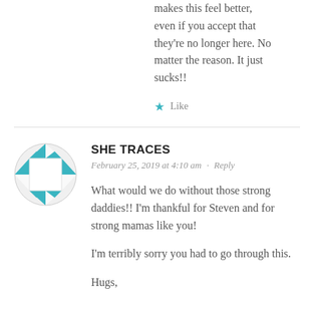makes this feel better, even if you accept that they're no longer here. No matter the reason. It just sucks!!
★ Like
[Figure (illustration): Circular avatar with a teal/turquoise diamond quilt pattern border and white square center — blog comment profile image for She Traces]
SHE TRACES
February 25, 2019 at 4:10 am · Reply
What would we do without those strong daddies!! I'm thankful for Steven and for strong mamas like you!
I'm terribly sorry you had to go through this.
Hugs,